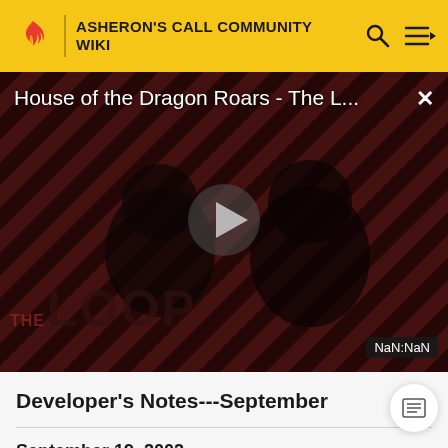ASHERON'S CALL COMMUNITY WIKI
[Figure (screenshot): Video advertisement panel showing 'House of the Dragon Roars - The L...' with a play button in the center, diagonal red and dark stripe background, silhouettes of people, 'THE LOOP' text overlay, and 'NaN:NaN' duration indicator in the bottom right corner.]
Developer's Notes---September
September 19, 2002